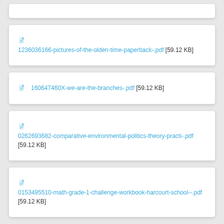1236036166-pictures-of-the-olden-time-paperback-.pdf [59.12 KB]
160647460X-we-are-the-branches-.pdf [59.12 KB]
0262693682-comparative-environmental-politics-theory-practi-.pdf [59.12 KB]
0153495510-math-grade-1-challenge-workbook-harcourt-school--.pdf [59.12 KB]